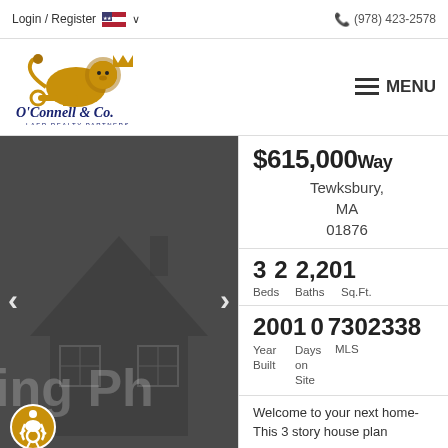Login / Register  (978) 423-2578
[Figure (logo): O'Connell & Co. LAER Realty Partners lion logo with key]
MENU
[Figure (photo): Dark grey house illustration with text 'ing Ph' visible, navigation arrows]
$615,000 Way Tewksbury, MA 01876
3 Beds  2 Baths  2,201 Sq.Ft.
2001  0  73023380
Year Built  Days on Site  MLS
Welcome to your next home- This 3 story house plan